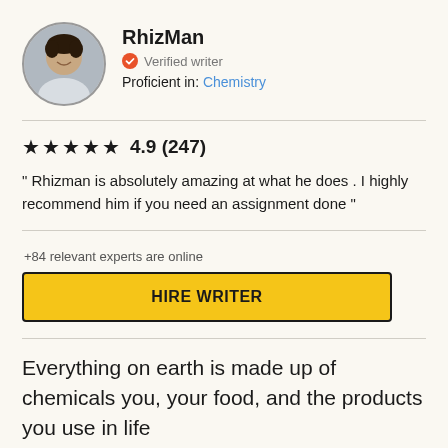[Figure (illustration): Circular avatar photo of a young man smiling, wearing a light-colored shirt]
RhizMan
Verified writer
Proficient in: Chemistry
4.9 (247)
" Rhizman is absolutely amazing at what he does . I highly recommend him if you need an assignment done "
+84 relevant experts are online
HIRE WRITER
Everything on earth is made up of chemicals you, your food, and the products you use in life